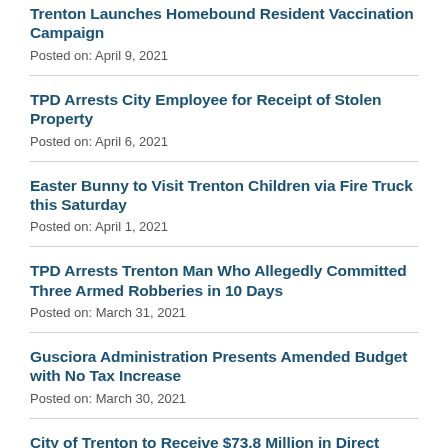Trenton Launches Homebound Resident Vaccination Campaign
Posted on: April 9, 2021
TPD Arrests City Employee for Receipt of Stolen Property
Posted on: April 6, 2021
Easter Bunny to Visit Trenton Children via Fire Truck this Saturday
Posted on: April 1, 2021
TPD Arrests Trenton Man Who Allegedly Committed Three Armed Robberies in 10 Days
Posted on: March 31, 2021
Gusciora Administration Presents Amended Budget with No Tax Increase
Posted on: March 30, 2021
City of Trenton to Receive $73.8 Million in Direct Federal Aid